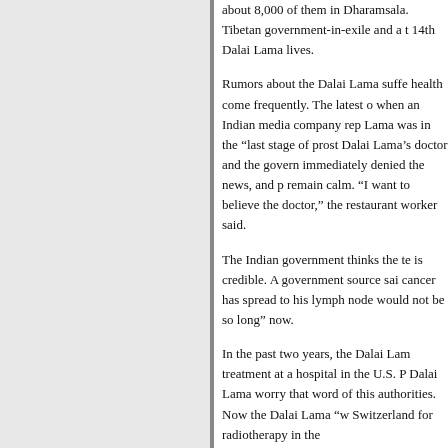about 8,000 of them in Dharamsala. Tibetan government-in-exile and a t 14th Dalai Lama lives.

Rumors about the Dalai Lama suffe health come frequently. The latest o when an Indian media company rep Lama was in the "last stage of prost Dalai Lama's doctor and the govern immediately denied the news, and p remain calm. "I want to believe the doctor," the restaurant worker said.

The Indian government thinks the te is credible. A government source sai cancer has spread to his lymph node would not be so long" now.

In the past two years, the Dalai Lam treatment at a hospital in the U.S. P Dalai Lama worry that word of this authorities. Now the Dalai Lama "w Switzerland for radiotherapy in the